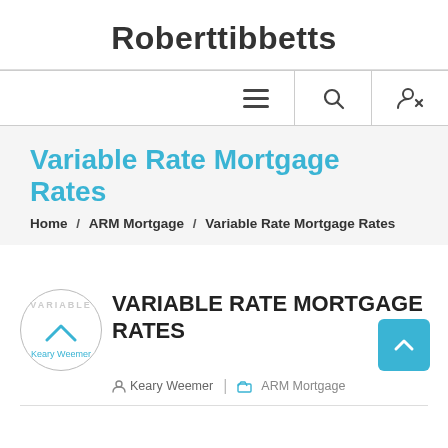Roberttibbetts
Variable Rate Mortgage Rates
Home / ARM Mortgage / Variable Rate Mortgage Rates
VARIABLE RATE MORTGAGE RATES
Keary Weemer | ARM Mortgage